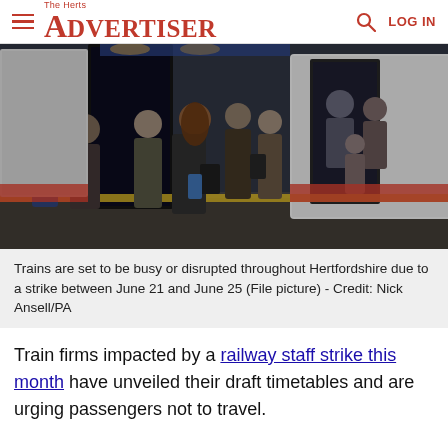The Herts Advertiser | LOG IN
[Figure (photo): Commuters boarding a crowded train at a station platform, people pressing to get on through train doors, photographed in low light conditions.]
Trains are set to be busy or disrupted throughout Hertfordshire due to a strike between June 21 and June 25 (File picture) - Credit: Nick Ansell/PA
Train firms impacted by a railway staff strike this month have unveiled their draft timetables and are urging passengers not to travel.
More than 50,000 railway workers from three trade